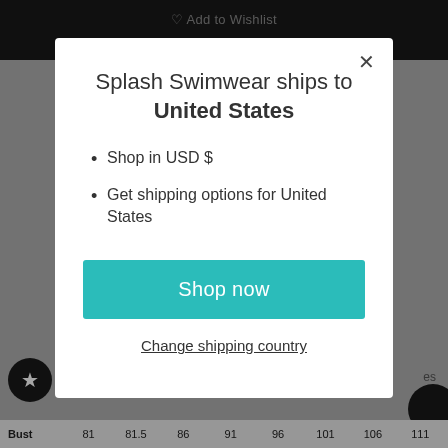[Figure (screenshot): Website background showing dark top navigation bar with 'Add to Wishlist' text, gray page background, a black circle with star icon on the left, partial text labels, and a size chart row at the bottom with Bust measurements: 81, 81.5, 86, 91, 96, 101, 106, 111]
Splash Swimwear ships to
United States
Shop in USD $
Get shipping options for United States
Shop now
Change shipping country